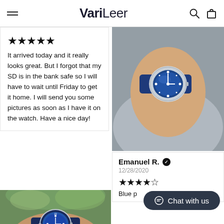VariLeer
★★★★★
It arrived today and it really looks great. But I forgot that my SD is in the bank safe so I will have to wait until Friday to get it home. I will send you some pictures as soon as I have it on the watch. Have a nice day!
[Figure (photo): Photo of a wrist wearing a blue Rolex GMT-Master watch with a dark blue bezel outdoors with green foliage in the background]
[Figure (photo): Photo of a wrist wearing a blue dial watch with silver bezel on a fabric strap, shown on a grey sweater sleeve]
Emanuel R. ✓
12/28/2020
★★★★☆
Blue p…
[Figure (photo): Partial photo showing gold/tan material at the bottom]
Chat with us